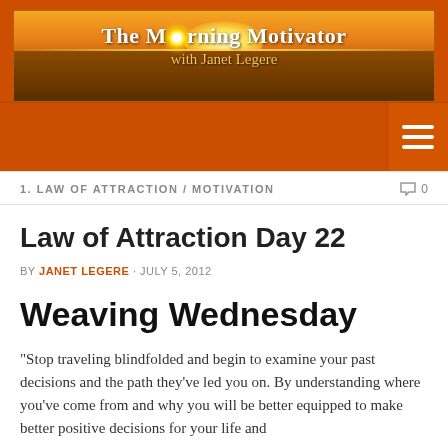[Figure (illustration): The Morning Motivator with Janet Legere — banner image with sunrise over water]
[Figure (other): Navigation bar with hamburger menu icon on orange background]
1. LAW OF ATTRACTION / MOTIVATION    0
Law of Attraction Day 22
BY JANET LEGERE · JULY 5, 2012
Weaving Wednesday
“Stop traveling blindfolded and begin to examine your past decisions and the path they’ve led you on. By understanding where you’ve come from and why you will be better equipped to make better positive decisions for your life and